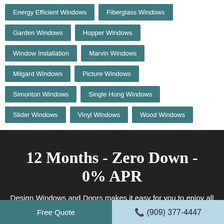Energy Efficient Windows
Fiberglass Windows
Garden Windows
Hopper Windows
Window Installation
Marvin Windows
Milgard Windows
Picture Windows
Simonton Windows
Single Hung Windows
Slider Windows
Vinyl Windows
Wood Windows
12 Months - Zero Down - 0% APR
Design Windows and Doors makes it easy for you to enjoy all the benefits of the exceptional quality products by offering flexible financing.
Free Quote   ✆ (909) 377-4447